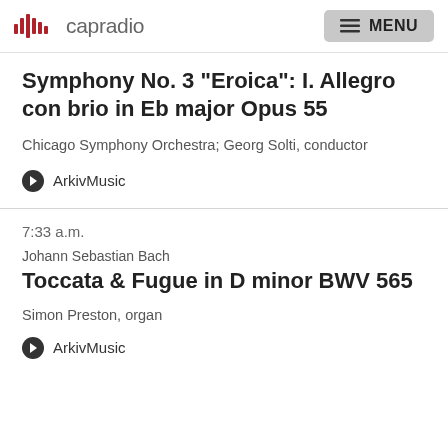capradio | MENU
Symphony No. 3 "Eroica": I. Allegro con brio in Eb major Opus 55
Chicago Symphony Orchestra; Georg Solti, conductor
ArkivMusic
7:33 a.m.
Johann Sebastian Bach
Toccata & Fugue in D minor BWV 565
Simon Preston, organ
ArkivMusic